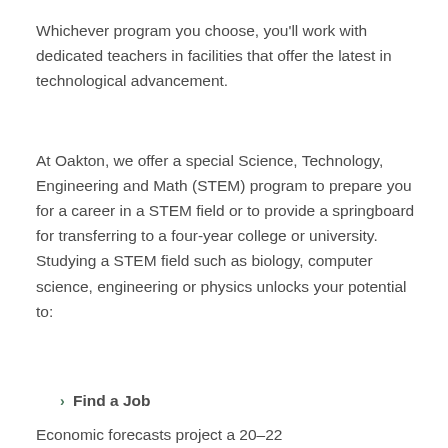Whichever program you choose, you'll work with dedicated teachers in facilities that offer the latest in technological advancement.
At Oakton, we offer a special Science, Technology, Engineering and Math (STEM) program to prepare you for a career in a STEM field or to provide a springboard for transferring to a four-year college or university. Studying a STEM field such as biology, computer science, engineering or physics unlocks your potential to:
Find a Job
Economic forecasts project a 20–22